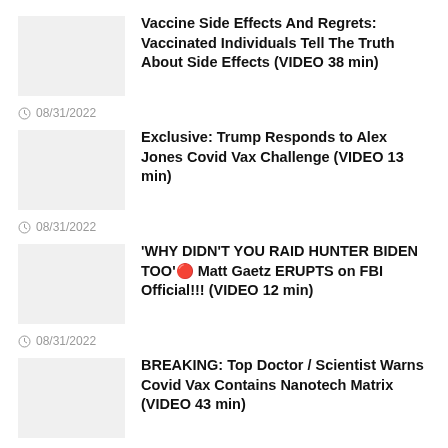Vaccine Side Effects And Regrets: Vaccinated Individuals Tell The Truth About Side Effects (VIDEO 38 min)
08/31/2022
Exclusive: Trump Responds to Alex Jones Covid Vax Challenge (VIDEO 13 min)
08/31/2022
'WHY DIDN'T YOU RAID HUNTER BIDEN TOO'🔴 Matt Gaetz ERUPTS on FBI Official!!! (VIDEO 12 min)
08/31/2022
BREAKING: Top Doctor / Scientist Warns Covid Vax Contains Nanotech Matrix (VIDEO 43 min)